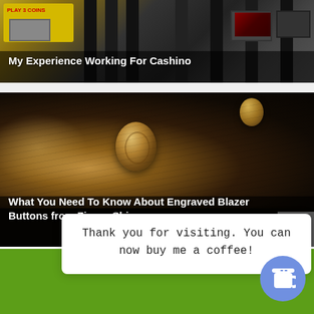[Figure (photo): Slot machines in a casino arcade, yellow and dark tones]
My Experience Working For Cashino
[Figure (photo): Close-up of engraved metal blazer buttons on dark fabric]
What You Need To Know About Engraved Blazer Buttons from Zipper Shipper
Thank you for visiting. You can now buy me a coffee!